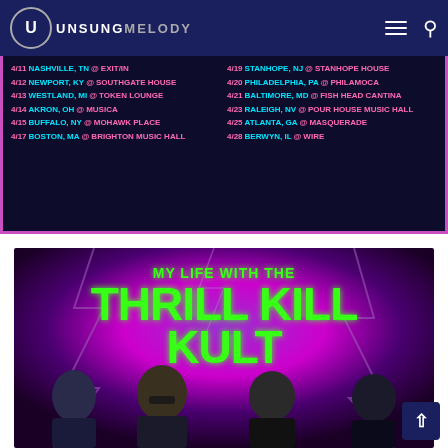Unsung Melody
4/11 NASHVILLE, TN @ EXIT/IN
4/12 NEWPORT, KY @ SOUTHGATE HOUSE
4/13 WESTLAND, MI @ TOKEN LOUNGE
4/14 AKRON, OH @ MUSICA
4/15 BUFFALO, NY @ MOHAWK PLACE
4/17 BOSTON, MA @ BRIGHTON MUSIC HALL
4/19 STANHOPE, NJ @ STANHOPE HOUSE
4/20 PHILADELPHIA, PA @ PHILAMOCA
4/21 BALTIMORE, MD @ FISH HEAD CANTINA
4/23 RALEIGH, NV @ POUR HOUSE MUSIC HALL
4/25 ATLANTA, GA @ MASQUERADE
4/28 BERWYN, IL @ WIRE
[Figure (photo): My Life with the Thrill Kill Kult band promotional poster with neon green text on purple lightning background, showing four band members]